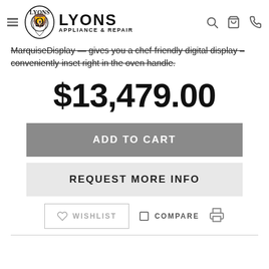Lyons Appliance & Repair
MarquiseDisplay — gives you a chef-friendly digital display – conveniently inset right in the oven handle.
$13,479.00
ADD TO CART
REQUEST MORE INFO
WISHLIST   COMPARE